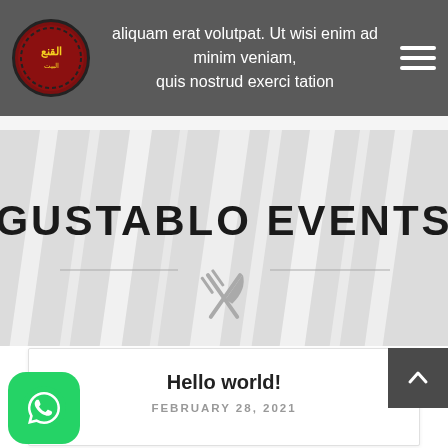aliquam erat volutpat. Ut wisi enim ad minim veniam, quis nostrud exerci tation
[Figure (illustration): Hero banner with 'GUSTABLO EVENTS' text and crossed fork and knife icon on light gray striped background]
Hello world!
FEBRUARY 28, 2021
[Figure (logo): WhatsApp logo button (green rounded square with phone receiver icon)]